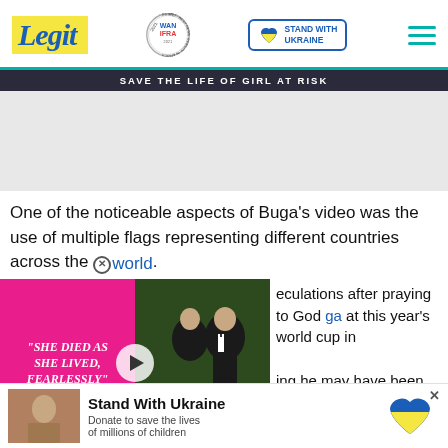Legit | WAN-IFRA 2021 Best News Website in Africa | Stand With Ukraine
[Figure (screenshot): Dark ad banner with text: SAVE THE LIFE OF GIRL AT RISK]
[Figure (other): Gray advertisement area (placeholder)]
One of the noticeable aspects of Buga’s video was the use of multiple flags representing different countries across the world.
[Figure (screenshot): Video thumbnail overlay: pink band with text 'SHE DIED AS SHE LIVED, FEARLESSLY', man in tuxedo with woman in background, play button, red chevron button]
eculations after praying to God ga at this year’s world cup in
ing he may have been
[Figure (screenshot): Stand With Ukraine donate banner: title 'Stand With Ukraine', subtitle 'Donate to save the lives of millions of children', Ukrainian heart icon, close X button, small child thumbnail]